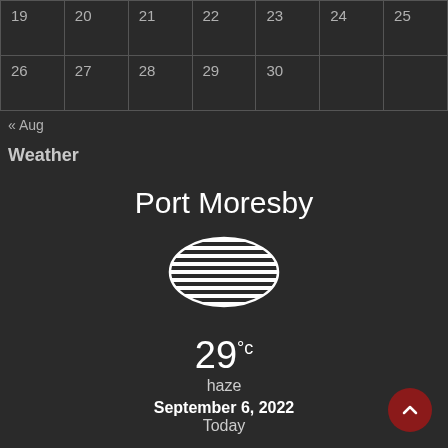| 19 | 20 | 21 | 22 | 23 | 24 | 25 |
| 26 | 27 | 28 | 29 | 30 |  |  |
« Aug
Weather
Port Moresby
[Figure (illustration): Haze weather icon: horizontally striped oval/ellipse shape representing haze condition]
29°c
haze
September 6, 2022
Today